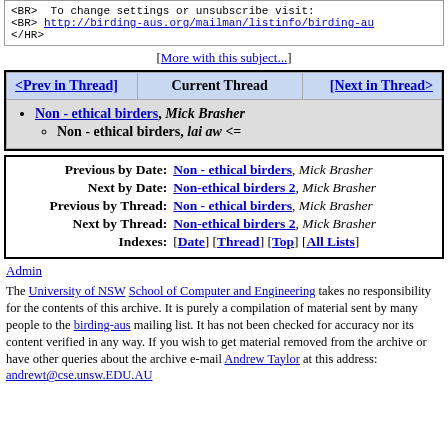<BR>  To change settings or unsubscribe visit:
<BR> http://birding-aus.org/mailman/listinfo/birding-au
</HR>
[More with this subject...]
| <Prev in Thread] | Current Thread | [Next in Thread> |
| --- | --- | --- |
Non - ethical birders, Mick Brasher
Non - ethical birders, lai aw <=
| Previous by Date: | Non - ethical birders, Mick Brasher |
| Next by Date: | Non-ethical birders 2, Mick Brasher |
| Previous by Thread: | Non - ethical birders, Mick Brasher |
| Next by Thread: | Non-ethical birders 2, Mick Brasher |
| Indexes: | [Date] [Thread] [Top] [All Lists] |
Admin
The University of NSW School of Computer and Engineering takes no responsibility for the contents of this archive. It is purely a compilation of material sent by many people to the birding-aus mailing list. It has not been checked for accuracy nor its content verified in any way. If you wish to get material removed from the archive or have other queries about the archive e-mail Andrew Taylor at this address: andrewt@cse.unsw.EDU.AU